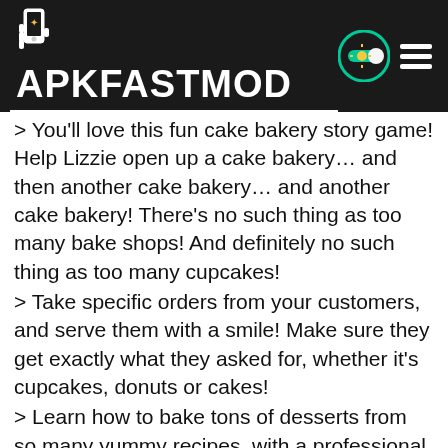[Figure (logo): APKFASTMOD logo on dark background with hand holding phone icon]
> You'll love this fun cake bakery story game! Help Lizzie open up a cake bakery… and then another cake bakery… and another cake bakery! There's no such thing as too many bake shops! And definitely no such thing as too many cupcakes!
> Take specific orders from your customers, and serve them with a smile! Make sure they get exactly what they asked for, whether it's cupcakes, donuts or cakes!
> Learn how to bake tons of desserts from so many yummy recipes, with a professional cake maker!
> Make your cakes extra fancy with colorful cake decorations!
> Dress up Lizzie like the true baker she is! Give her a pretty chef's hat and a pretty apron!
> Show off your sweet bakery skills and win first prize in baking contests and cake fairs!
> Get ready to bake the tastiest desserts ever, from apple yogurt smoothies to princess birthday cakes, to scrumptiously